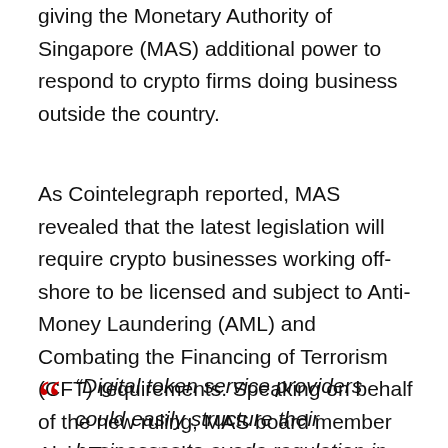giving the Monetary Authority of Singapore (MAS) additional power to respond to crypto firms doing business outside the country.
As Cointelegraph reported, MAS revealed that the latest legislation will require crypto businesses working off-shore to be licensed and subject to Anti-Money Laundering (AML) and Combating the Financing of Terrorism (CFT) requirements. Speaking on behalf of the new ruling, MAS board member Alvin Tan stated:
“Digital token service providers could easily structure their businesses to evade regulation in any one jurisdiction, as they operate mainly